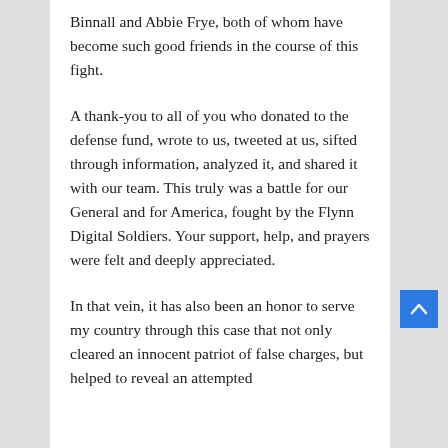Binnall and Abbie Frye, both of whom have become such good friends in the course of this fight.
A thank-you to all of you who donated to the defense fund, wrote to us, tweeted at us, sifted through information, analyzed it, and shared it with our team. This truly was a battle for our General and for America, fought by the Flynn Digital Soldiers. Your support, help, and prayers were felt and deeply appreciated.
In that vein, it has also been an honor to serve my country through this case that not only cleared an innocent patriot of false charges, but helped to reveal an attempted